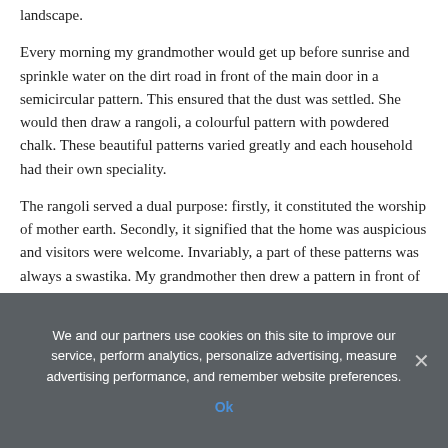landscape.
Every morning my grandmother would get up before sunrise and sprinkle water on the dirt road in front of the main door in a semicircular pattern. This ensured that the dust was settled. She would then draw a rangoli, a colourful pattern with powdered chalk. These beautiful patterns varied greatly and each household had their own speciality.
The rangoli served a dual purpose: firstly, it constituted the worship of mother earth. Secondly, it signified that the home was auspicious and visitors were welcome. Invariably, a part of these patterns was always a swastika. My grandmother then drew a pattern in front of the small household shrine as well. In the midst of this pattern was a swastika.
We and our partners use cookies on this site to improve our service, perform analytics, personalize advertising, measure advertising performance, and remember website preferences.
Ok